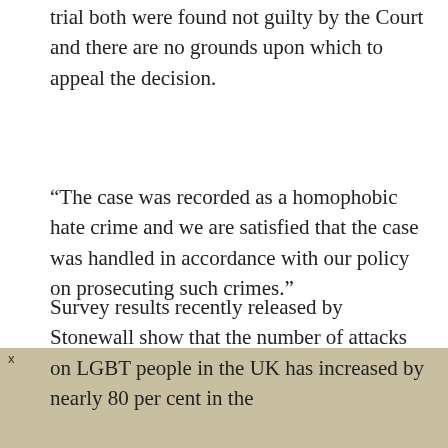trial both were found not guilty by the Court and there are no grounds upon which to appeal the decision.
“The case was recorded as a homophobic hate crime and we are satisfied that the case was handled in accordance with our policy on prosecuting such crimes.”
Survey results recently released by Stonewall show that the number of attacks on LGBT people in the UK has increased by nearly 80 per cent in the